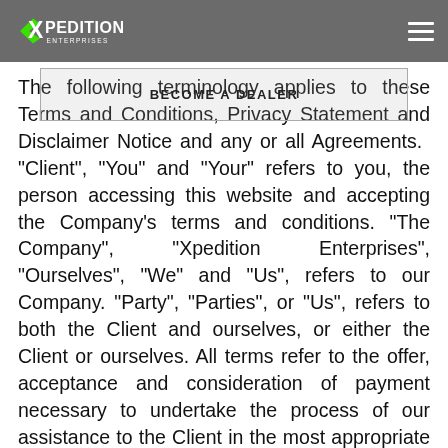Xpedition Enterprises | BECOME A DEALER
The following terminology applies to these Terms and Conditions, Privacy Statement and Disclaimer Notice and any or all Agreements. "Client", "You" and "Your" refers to you, the person accessing this website and accepting the Company's terms and conditions. "The Company", "Xpedition Enterprises", "Ourselves", "We" and "Us", refers to our Company. "Party", "Parties", or "Us", refers to both the Client and ourselves, or either the Client or ourselves. All terms refer to the offer, acceptance and consideration of payment necessary to undertake the process of our assistance to the Client in the most appropriate manner, whether by formal meetings of a fixed duration, or any other means, for the express purpose of meeting the Client's needs in respect of provision of the Company's